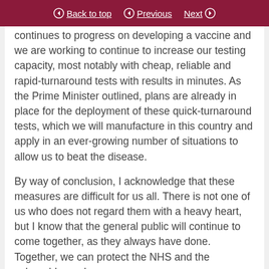Back to top | Previous | Next
continues to progress on developing a vaccine and we are working to continue to increase our testing capacity, most notably with cheap, reliable and rapid-turnaround tests with results in minutes. As the Prime Minister outlined, plans are already in place for the deployment of these quick-turnaround tests, which we will manufacture in this country and apply in an ever-growing number of situations to allow us to beat the disease.
By way of conclusion, I acknowledge that these measures are difficult for us all. There is not one of us who does not regard them with a heavy heart, but I know that the general public will continue to come together, as they always have done. Together, we can protect the NHS and the vulnerable, and